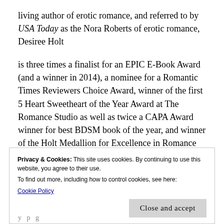living author of erotic romance, and referred to by USA Today as the Nora Roberts of erotic romance, Desiree Holt
is three times a finalist for an EPIC E-Book Award (and a winner in 2014), a nominee for a Romantic Times Reviewers Choice Award, winner of the first 5 Heart Sweetheart of the Year Award at The Romance Studio as well as twice a CAPA Award winner for best BDSM book of the year, and winner of the Holt Medallion for Excellence in Romance Literature.
Privacy & Cookies: This site uses cookies. By continuing to use this website, you agree to their use.
To find out more, including how to control cookies, see here:
Cookie Policy
Close and accept
y p g